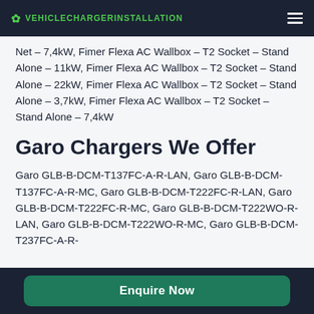VEHICLECHARGERINSTALLATION
Net – 7,4kW, Fimer Flexa AC Wallbox – T2 Socket – Stand Alone – 11kW, Fimer Flexa AC Wallbox – T2 Socket – Stand Alone – 22kW, Fimer Flexa AC Wallbox – T2 Socket – Stand Alone – 3,7kW, Fimer Flexa AC Wallbox – T2 Socket – Stand Alone – 7,4kW
Garo Chargers We Offer
Garo GLB-B-DCM-T137FC-A-R-LAN, Garo GLB-B-DCM-T137FC-A-R-MC, Garo GLB-B-DCM-T222FC-R-LAN, Garo GLB-B-DCM-T222FC-R-MC, Garo GLB-B-DCM-T222WO-R-LAN, Garo GLB-B-DCM-T222WO-R-MC, Garo GLB-B-DCM-T237FC-A-R-
Enquire Now